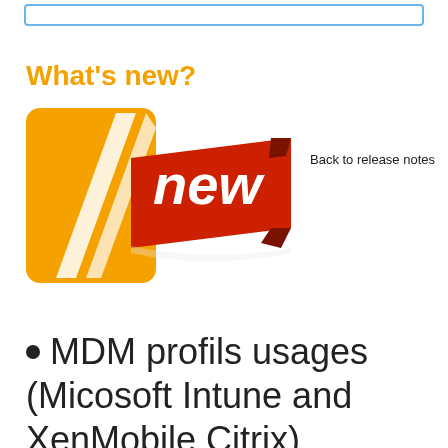What's new?
[Figure (logo): Orange slash logo (Acronis/similar) with a red ribbon banner saying 'new']
Back to release notes
MDM profils usages (Micosoft Intune and XenMobile Citrix)